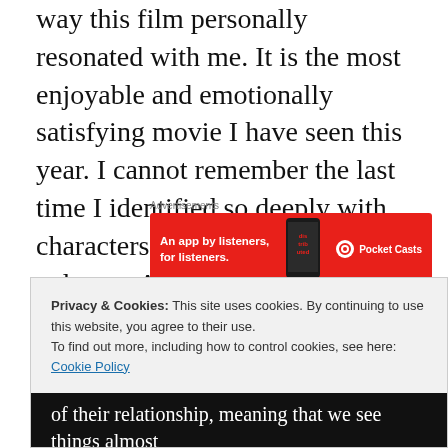way this film personally resonated with me. It is the most enjoyable and emotionally satisfying movie I have seen this year. I cannot remember the last time I identified so deeply with characters or felt so absorbed in a drama. At over two hours long it is not short but I did not want it to end.
[Figure (other): Advertisement banner for Pocket Casts app: red background with text 'An app by listeners, for listeners.' and Pocket Casts logo with a phone image and 'dis-trib-uted' text overlay.]
It's the story of David, played by Mark Boone Junior,
Privacy & Cookies: This site uses cookies. By continuing to use this website, you agree to their use. To find out more, including how to control cookies, see here: Cookie Policy
of their relationship, meaning that we see things almost